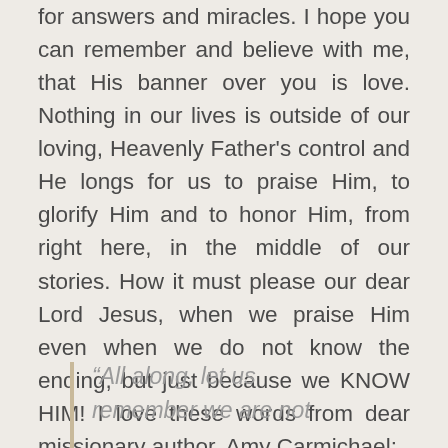for answers and miracles. I hope you can remember and believe with me, that His banner over you is love. Nothing in our lives is outside of our loving, Heavenly Father's control and He longs for us to praise Him, to glorify Him and to honor Him, from right here, in the middle of our stories. How it must please our dear Lord Jesus, when we praise Him even when we do not know the ending, but just because we KNOW HIM! I love these words from dear missionary author, Amy Carmichael:
“All along, let us remember we are not